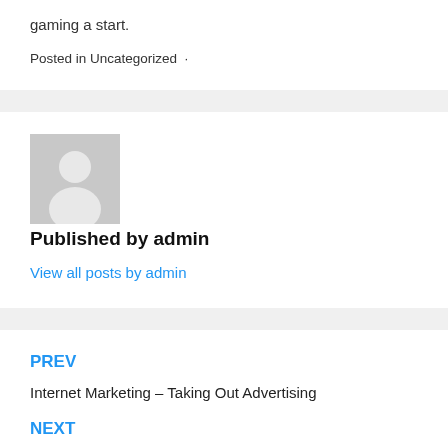gaming a start.
Posted in Uncategorized  ·
[Figure (illustration): Generic grey avatar placeholder image with silhouette of a person]
Published by admin
View all posts by admin
PREV
Internet Marketing – Taking Out Advertising
NEXT